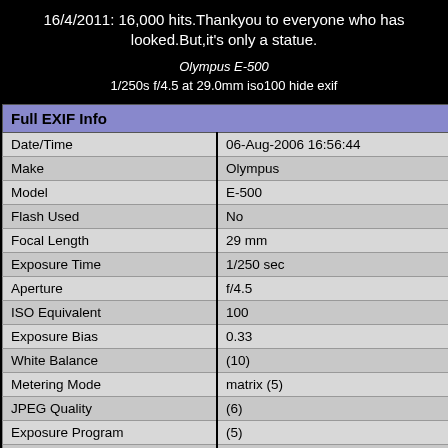16/4/2011: 16,000 hits.Thankyou to everyone who has looked.But,it's only a statue.
Olympus E-500
1/250s f/4.5 at 29.0mm iso100 hide exif
| Full EXIF Info |  |
| --- | --- |
| Date/Time | 06-Aug-2006 16:56:44 |
| Make | Olympus |
| Model | E-500 |
| Flash Used | No |
| Focal Length | 29 mm |
| Exposure Time | 1/250 sec |
| Aperture | f/4.5 |
| ISO Equivalent | 100 |
| Exposure Bias | 0.33 |
| White Balance | (10) |
| Metering Mode | matrix (5) |
| JPEG Quality | (6) |
| Exposure Program | (5) |
| Focus Distance |  |